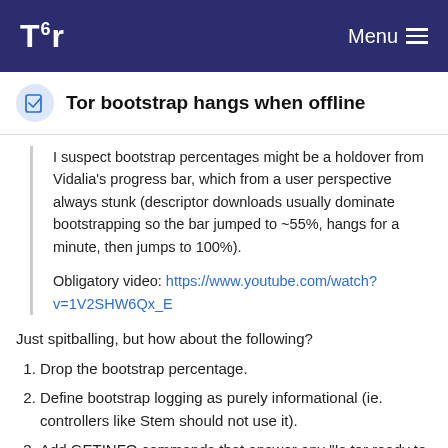Tor Menu
Tor bootstrap hangs when offline
I suspect bootstrap percentages might be a holdover from Vidalia's progress bar, which from a user perspective always stunk (descriptor downloads usually dominate bootstrapping so the bar jumped to ~55%, hangs for a minute, then jumps to 100%).
Obligatory video: https://www.youtube.com/watch?v=1V2SHW6Qx_E
Just spitballing, but how about the following?
Drop the bootstrap percentage.
Define bootstrap logging as purely informational (ie. controllers like Stem should not use it).
Add GETINFO commands that answer any "Is tor ready to do X?" inquiries.